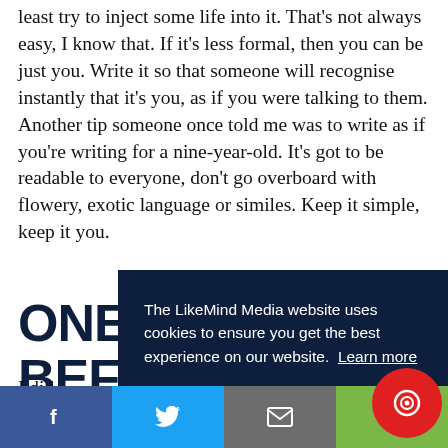least try to inject some life into it. That's not always easy, I know that. If it's less formal, then you can be just you. Write it so that someone will recognise instantly that it's you, as if you were talking to them. Another tip someone once told me was to write as if you're writing for a nine-year-old. It's got to be readable to everyone, don't go overboard with flowery, exotic language or similes. Keep it simple, keep it you.
ONE LAST THING BEFORE YOU GO
I did ... you ... and ... try ...
[Figure (screenshot): Cookie consent banner overlay from LikeMind Media website with dark navy background. Text reads: 'The LikeMind Media website uses cookies to ensure you get the best experience on our website. Learn more' with a yellow 'GOT IT!' button.]
[Figure (infographic): Social sharing bar at the bottom with Facebook (blue), Twitter (light blue), Email (grey), and Share (green) buttons, plus a red circular chat widget in the bottom right.]